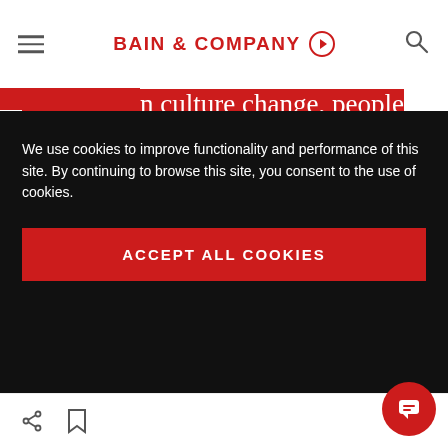BAIN & COMPANY
process to guide this transformation. By adapting digital architecture to focus on world-class products targeted to distinct audiences, incumbents can achieve higher return on investment (ROI) and avoid ceding market share to competitors.
We use cookies to improve functionality and performance of this site. By continuing to browse this site, you consent to the use of cookies.
ACCEPT ALL COOKIES